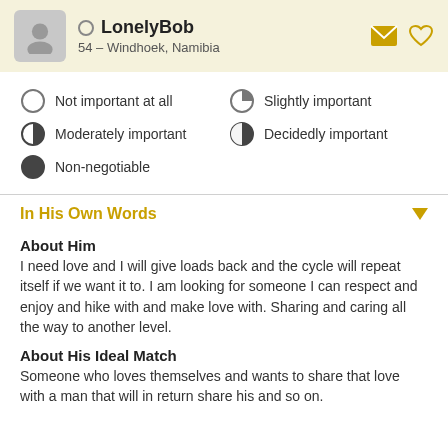LonelyBob — 54 – Windhoek, Namibia
Not important at all
Slightly important
Moderately important
Decidedly important
Non-negotiable
In His Own Words
About Him
I need love and I will give loads back and the cycle will repeat itself if we want it to. I am looking for someone I can respect and enjoy and hike with and make love with. Sharing and caring all the way to another level.
About His Ideal Match
Someone who loves themselves and wants to share that love with a man that will in return share his and so on.